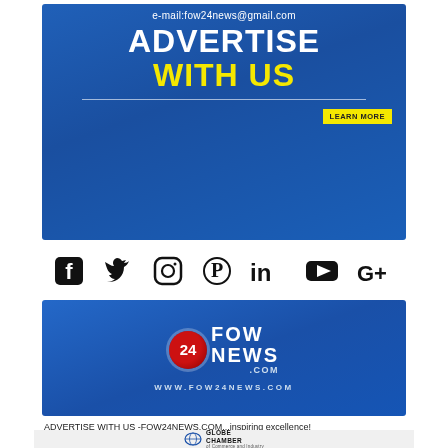[Figure (infographic): Blue advertisement banner for FOW24NEWS.COM with email, ADVERTISE WITH US text, LEARN MORE button, social media icons row (Facebook, Twitter, Instagram, Pinterest, LinkedIn, YouTube, Google+), and FOW24 News logo with website URL]
ADVERTISE WITH US -FOW24NEWS.COM...inspiring excellence!
[Figure (logo): Globe Chamber of Commerce and Industry logo at bottom of page]